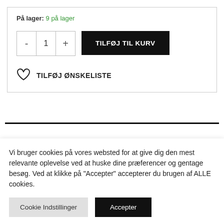På lager: 9 på lager
[Figure (screenshot): Add to cart UI with quantity selector buttons (minus, 1, plus) and a black 'TILFØJ TIL KURV' button]
TILFØJ ØNSKELISTE
Vi bruger cookies på vores websted for at give dig den mest relevante oplevelse ved at huske dine præferencer og gentage besøg. Ved at klikke på "Accepter" accepterer du brugen af ALLE cookies.
Cookie Indstillinger
Accepter